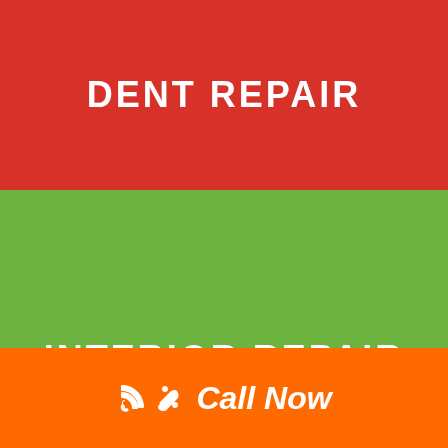DENT REPAIR
INTERIOR REPAIR
© 2021 Ultragloss LLC All Rights Reserved | A Zen
Call Now